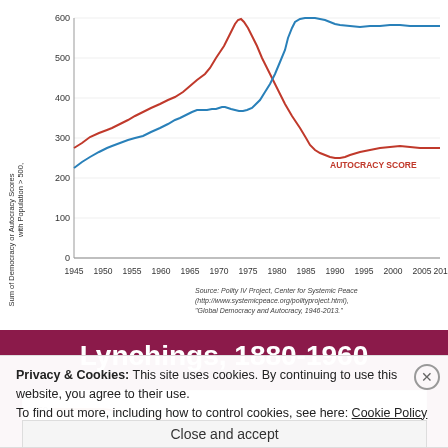[Figure (continuous-plot): Line chart showing Sum of Democracy or Autocracy Scores with Population > 500 from 1945 to ~2013. Two lines: red (Autocracy Score) starts ~300 in 1945, peaks ~640 around 1977, then declines to ~280 by 2010. Blue (Democracy Score) starts ~260 in 1945, rises to ~400 in 1960s-1980s, then climbs sharply to ~650 around 1990-1993, then levels off.]
Source: Polity IV Project, Center for Systemic Peace (http://www.systemicpeace.org/polityproject.html), "Global Democracy and Autocracy, 1946-2013."
Lynchings, 1880-1960
[Figure (line-chart): Partial view of a line chart titled Lynchings, 1880-1960. Only the top portion is visible showing value around 150 on y-axis with a red/dark line descending.]
Privacy & Cookies: This site uses cookies. By continuing to use this website, you agree to their use.
To find out more, including how to control cookies, see here: Cookie Policy
Close and accept